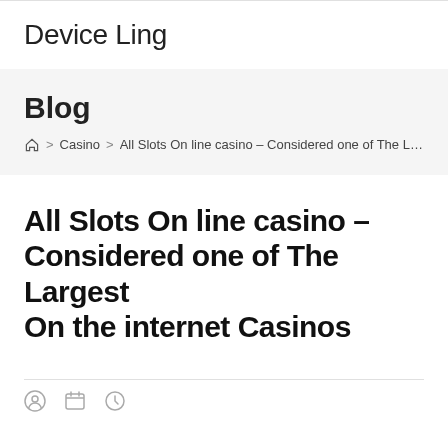Device Ling
Blog
⌂ > Casino > All Slots On line casino – Considered one of The Larg…
All Slots On line casino – Considered one of The Largest On the internet Casinos